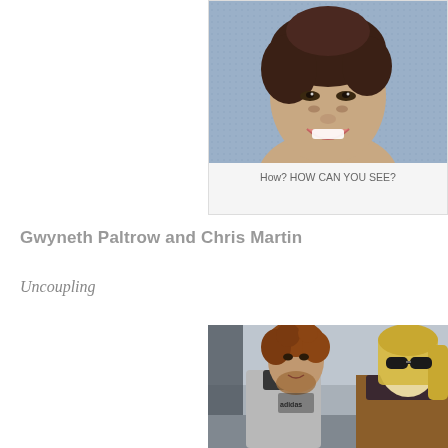[Figure (photo): Close-up photo of a woman smiling, with dark hair styled up, against a blurred background.]
How? HOW CAN YOU SEE?
Gwyneth Paltrow and Chris Martin
Uncoupling
[Figure (photo): Photo of a man with curly brown hair wearing a grey Adidas hoodie riding a bicycle, and a blonde woman in sunglasses wearing a brown blazer and dark scarf walking beside him on a street.]